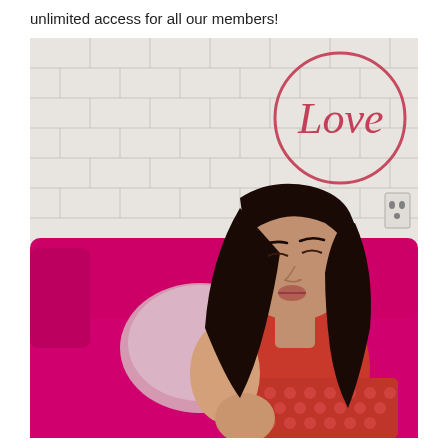unlimited access for all our members!
[Figure (photo): A woman with long dark hair wearing a red outfit sits on a bright pink/magenta velvet sofa. She is holding a fluffy light pink pillow and has her eyes closed. Behind her is a white brick wall with a decorative neon-style 'Love' sign in pink/red cursive on the upper right.]